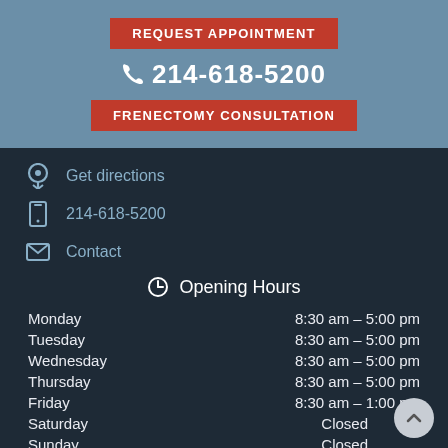REQUEST APPOINTMENT
214-618-5200
FRENECTOMY CONSULTATION
Get directions
214-618-5200
Contact
Opening Hours
| Day | Hours |
| --- | --- |
| Monday | 8:30 am – 5:00 pm |
| Tuesday | 8:30 am – 5:00 pm |
| Wednesday | 8:30 am – 5:00 pm |
| Thursday | 8:30 am – 5:00 pm |
| Friday | 8:30 am – 1:00 pm |
| Saturday | Closed |
| Sunday | Closed |